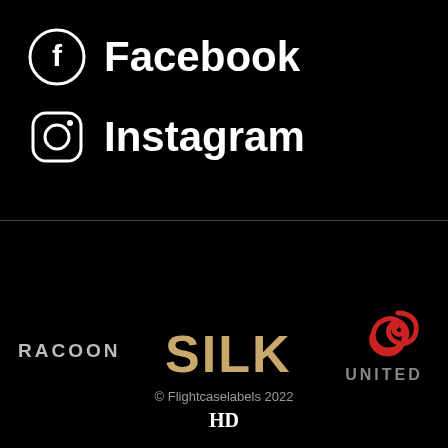[Figure (logo): Facebook logo icon (white circle with f) and text 'Facebook' in bold white]
[Figure (logo): Instagram logo icon (white circle with camera outline) and text 'Instagram' in bold white]
[Figure (logo): RACOON brand name in gray spaced capitals]
[Figure (logo): SILK brand name in large bold gold/cream letters]
[Figure (logo): United brand logo with red S-shaped icon and gray UNITED text]
© Flightcaselabels 2022
HD